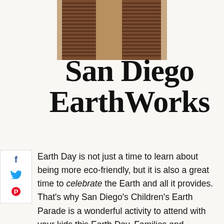[Figure (photo): Close-up photo of metallic cylindrical objects (cans or tubes), brownish-copper color, partially visible at top of page]
San Diego EarthWorks
Earth Day is not just a time to learn about being more eco-friendly, but it is also a great time to celebrate the Earth and all it provides. That's why San Diego's Children's Earth Parade is a wonderful activity to attend with your kids this Earth Day. Families and organizations with a creative streak chose Earth Day themes, and crafted wild and whacky costumes, in order to be part of the parade. Although the deadline has